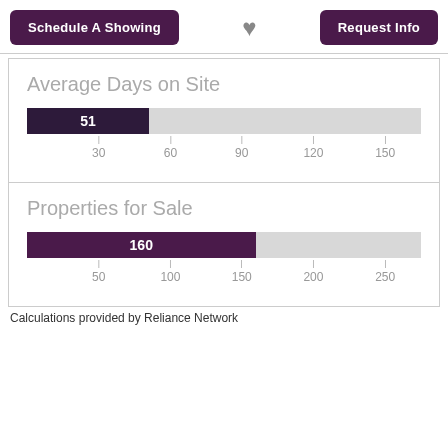Schedule A Showing
Request Info
Average Days on Site
[Figure (bar-chart): Average Days on Site]
Properties for Sale
[Figure (bar-chart): Properties for Sale]
Calculations provided by Reliance Network